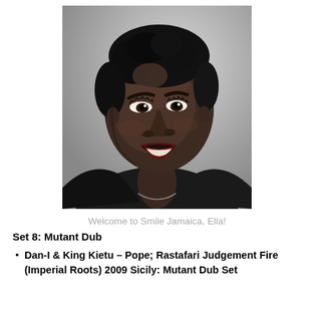[Figure (photo): Black and white portrait photograph of a woman looking upward and smiling, with short curly hair, wearing a dark top with a necklace, studio-style lighting on a light gradient background.]
Welcome to Smile Jamaica, Ella!
Set 8: Mutant Dub
Dan-I & King Kietu – Pope; Rastafari Judgement Fire (Imperial Roots) 2009 Sicily: Mutant Dub Set